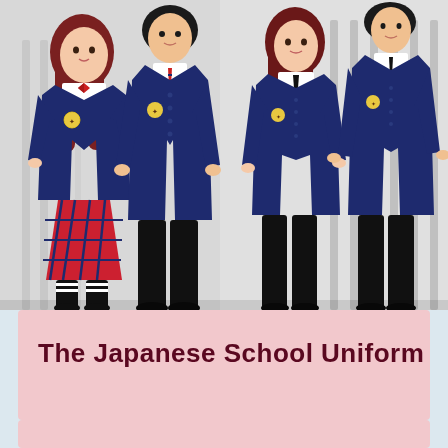[Figure (photo): Four students wearing Japanese school uniforms — navy blue V-neck cardigans with emblem patches over white collared shirts. Left female student wears a red plaid pleated skirt and black knee-high socks; left male wears black slacks. Right female wears black pants; right male wears black slacks and a black tie.]
The Japanese School Uniform